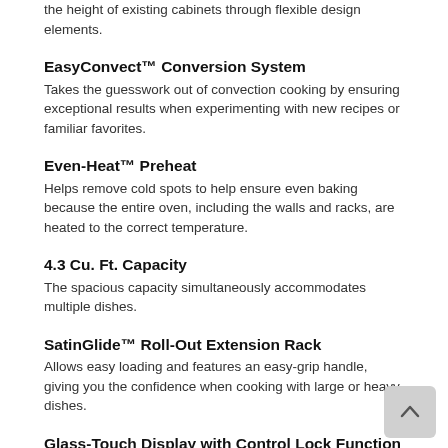the height of existing cabinets through flexible design elements.
EasyConvect™ Conversion System
Takes the guesswork out of convection cooking by ensuring exceptional results when experimenting with new recipes or familiar favorites.
Even-Heat™ Preheat
Helps remove cold spots to help ensure even baking because the entire oven, including the walls and racks, are heated to the correct temperature.
4.3 Cu. Ft. Capacity
The spacious capacity simultaneously accommodates multiple dishes.
SatinGlide™ Roll-Out Extension Rack
Allows easy loading and features an easy-grip handle, giving you the confidence when cooking with large or heavy dishes.
Glass-Touch Display with Control Lock Function
Gives an intuitive glass touch screen experience that s